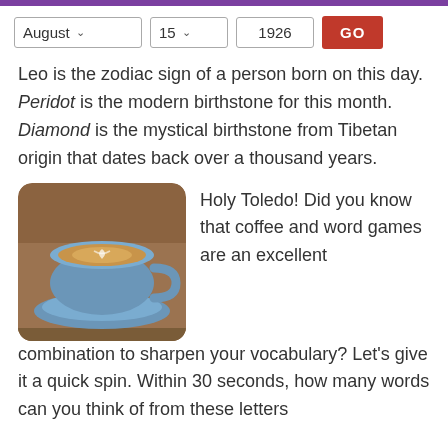August  15  1926  GO
Leo is the zodiac sign of a person born on this day. Peridot is the modern birthstone for this month. Diamond is the mystical birthstone from Tibetan origin that dates back over a thousand years.
[Figure (photo): A blue cup of coffee with latte art on a blue saucer, placed on a wooden surface.]
Holy Toledo! Did you know that coffee and word games are an excellent combination to sharpen your vocabulary? Let's give it a quick spin. Within 30 seconds, how many words can you think of from these letters